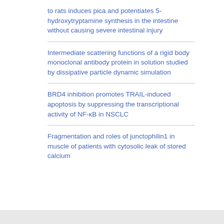to rats induces pica and potentiates 5-hydroxytryptamine synthesis in the intestine without causing severe intestinal injury
Intermediate scattering functions of a rigid body monoclonal antibody protein in solution studied by dissipative particle dynamic simulation
BRD4 inhibition promotes TRAIL-induced apoptosis by suppressing the transcriptional activity of NF-κB in NSCLC
Fragmentation and roles of junctophilin1 in muscle of patients with cytosolic leak of stored calcium